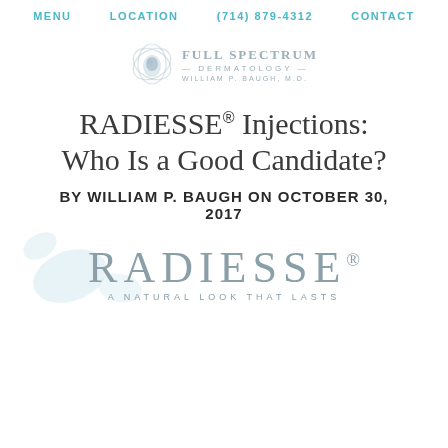MENU   LOCATION   (714) 879-4312   CONTACT
[Figure (logo): Full Spectrum Dermatology logo with drop/eye icon and text: FULL SPECTRUM DERMATOLOGY - WILLIAM P. BAUGH, M.D.]
RADIESSE® Injections: Who Is a Good Candidate?
BY WILLIAM P. BAUGH ON OCTOBER 30, 2017
[Figure (logo): RADIESSE® A NATURAL LOOK THAT LASTS logo with decorative light blue drops/swirl in background]